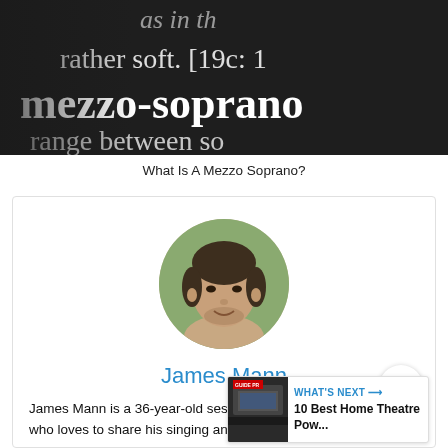[Figure (photo): Close-up photo of a dictionary entry showing the words 'rather soft. [19c:', 'mezzo-soprano', and 'range between so' in large white serif text on a dark/black background]
What Is A Mezzo Soprano?
[Figure (photo): Circular avatar photo of James Mann, a man in his 30s with short dark hair and stubble, smiling, with a blurred green outdoor background]
James Mann
James Mann is a 36-year-old session singer and vocal coach who loves to share his singing and
[Figure (photo): WHAT'S NEXT widget showing a thumbnail of a home theatre setup with text '10 Best Home Theatre Pow...']